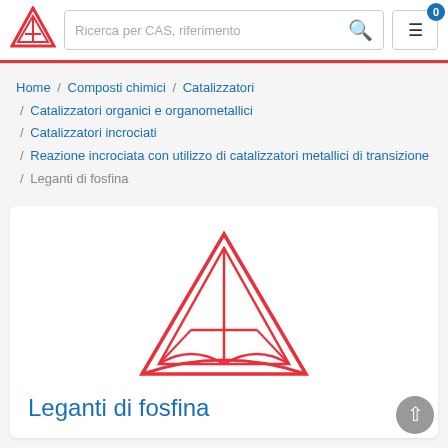[Figure (logo): TCI red triangular logo in header]
Ricerca per CAS, riferimento
[Figure (logo): Large TCI red triangular logo centered in product card]
Home / Composti chimici / Catalizzatori / Catalizzatori organici e organometallici / Catalizzatori incrociati / Reazione incrociata con utilizzo di catalizzatori metallici di transizione / Leganti di fosfina
Leganti di fosfina